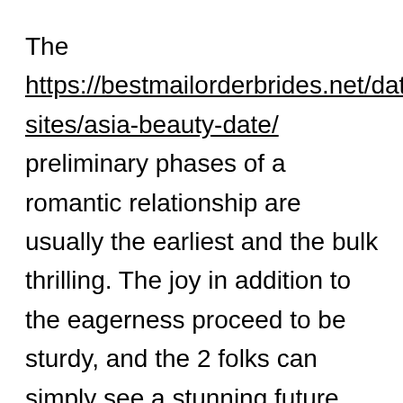The https://bestmailorderbrides.net/dating-sites/asia-beauty-date/ preliminary phases of a romantic relationship are usually the earliest and the bulk thrilling. The joy in addition to the eagerness proceed to be sturdy, and the 2 folks can simply see a stunning future inside their love existence. Nonetheless , when the chemistry relating to the 2 folks has develop into developed, the partnership can start to maneuver in a extra important route. With this stage, the partnership is known as an ideal experiment and it's the time if a lady won't